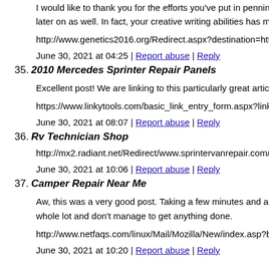I would like to thank you for the efforts you've put in penning later on as well. In fact, your creative writing abilities has moti
http://www.genetics2016.org/Redirect.aspx?destination=https:
June 30, 2021 at 04:25 | Report abuse | Reply
35. 2010 Mercedes Sprinter Repair Panels
Excellent post! We are linking to this particularly great article
https://www.linkytools.com/basic_link_entry_form.aspx?link=
June 30, 2021 at 08:07 | Report abuse | Reply
36. Rv Technician Shop
http://mx2.radiant.net/Redirect/www.sprintervanrepair.com/
June 30, 2021 at 10:06 | Report abuse | Reply
37. Camper Repair Near Me
Aw, this was a very good post. Taking a few minutes and actua whole lot and don't manage to get anything done.
http://www.netfaqs.com/linux/Mail/Mozilla/New/index.asp?bi
June 30, 2021 at 10:20 | Report abuse | Reply